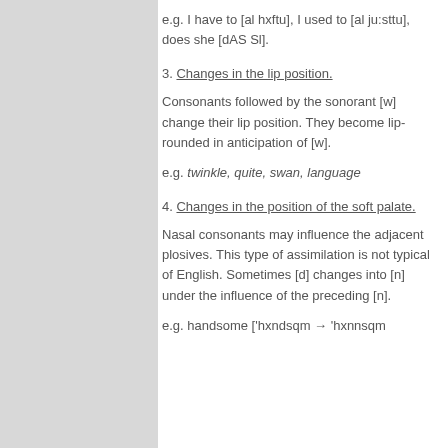e.g. I have to [al hxftu], I used to [al ju:sttu], does she [dAS Sl].
3. Changes in the lip position.
Consonants followed by the sonorant [w] change their lip position. They become lip-rounded in anticipation of [w].
e.g. twinkle, quite, swan, language
4. Changes in the position of the soft palate.
Nasal consonants may influence the adjacent plosives. This type of assimilation is not typical of English. Sometimes [d] changes into [n] under the influence of the preceding [n].
e.g. handsome ['hxndsqm → 'hxnnsqm